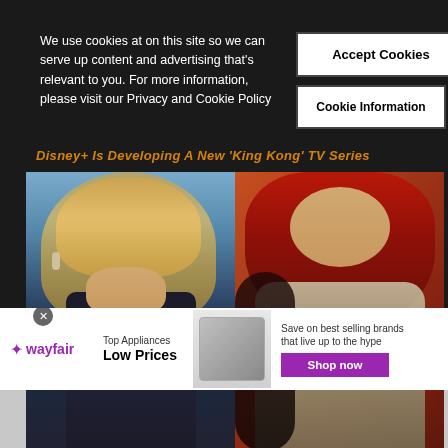We use cookies at on this site so we can serve up content and advertising that's relevant to you. For more information, please visit our Privacy and Cookie Policy
Accept Cookies
Cookie Information
Disney+ Is Developing A New 'King Kong' TV Series
[Figure (photo): Left: blonde woman in black dress against blue background (actress). Right: red-haired comic book warrior woman character (Red Sonja).]
[Figure (infographic): Wayfair advertisement banner: Top Appliances Low Prices, Save on best selling brands that live up to the hype, Shop now button, appliance image in center.]